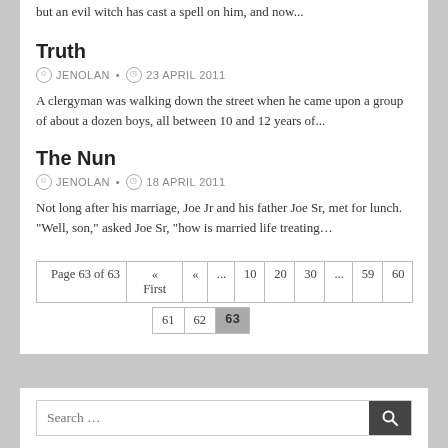but an evil witch has cast a spell on him, and now...
Truth
JENOLAN • 23 APRIL 2011
A clergyman was walking down the street when he came upon a group of about a dozen boys, all between 10 and 12 years of...
The Nun
JENOLAN • 18 APRIL 2011
Not long after his marriage, Joe Jr and his father Joe Sr, met for lunch. "Well, son," asked Joe Sr, "how is married life treating...
Page 63 of 63  « First  «  ...  10  20  30  ...  59  60  61  62  63